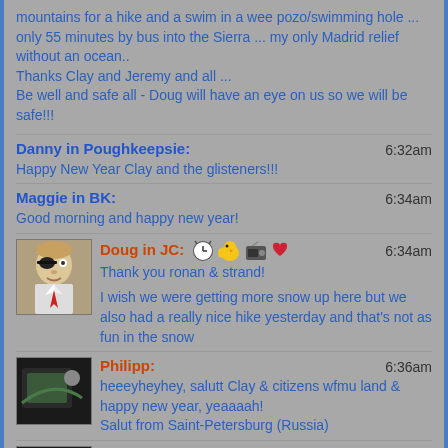mountains for a hike and a swim in a wee pozo/swimming hole ... only 55 minutes by bus into the Sierra ... my only Madrid relief without an ocean..
Thanks Clay and Jeremy and all ...
Be well and safe all - Doug will have an eye on us so we will be safe!!!
Danny in Poughkeepsie: 6:32am
Happy New Year Clay and the glisteners!!!
Maggie in BK: 6:34am
Good morning and happy new year!
Doug in JC: 6:34am
Thank you ronan & strand!
I wish we were getting more snow up here but we also had a really nice hike yesterday and that's not as fun in the snow
Philipp: 6:36am
heeeyheyhey, salutt Clay & citizens wfmu land & happy new year, yeaaaah!
Salut from Saint-Petersburg (Russia)
Philipp: 6:37am